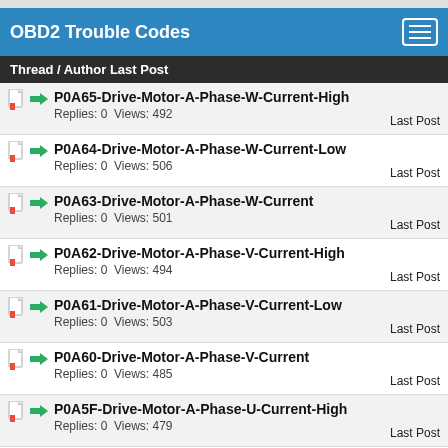OBD2 Trouble Codes
Thread / Author Last Post
P0A65-Drive-Motor-A-Phase-W-Current-High
Replies: 0  Views: 492
Last Post
P0A64-Drive-Motor-A-Phase-W-Current-Low
Replies: 0  Views: 506
Last Post
P0A63-Drive-Motor-A-Phase-W-Current
Replies: 0  Views: 501
Last Post
P0A62-Drive-Motor-A-Phase-V-Current-High
Replies: 0  Views: 494
Last Post
P0A61-Drive-Motor-A-Phase-V-Current-Low
Replies: 0  Views: 503
Last Post
P0A60-Drive-Motor-A-Phase-V-Current
Replies: 0  Views: 485
Last Post
P0A5F-Drive-Motor-A-Phase-U-Current-High
Replies: 0  Views: 479
Last Post
P0A5E-Drive-Motor-A-Phase-U-Current-Low (partial)